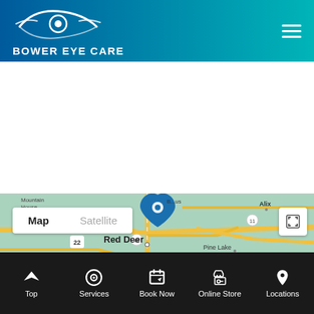[Figure (logo): Bower Eye Care logo with stylized eye graphic and text on blue-teal gradient header background]
[Figure (map): Google Maps view showing Red Deer area in Alberta, Canada with a blue location pin marker. Shows Map/Satellite toggle and expand button. Visible place names: Mountain House, Alix, Caroline, Pine Lake, Red Deer, Innisfail, Big Val. Roads marked 22, 54, 42, 11.]
Top | Services | Book Now | Online Store | Locations